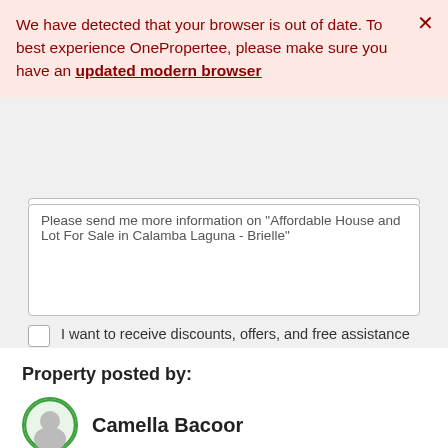We have detected that your browser is out of date. To best experience OnePropertee, please make sure you have an updated modern browser
Please send me more information on "Affordable House and Lot For Sale in Calamba Laguna - Brielle"
I want to receive discounts, offers, and free assistance from OnePropertee, licensed brokers, and/or accredited sellers. What is this?
I agree to the Terms and Privacy Policy of OnePropertee
Send Message
Property posted by:
Camella Bacoor